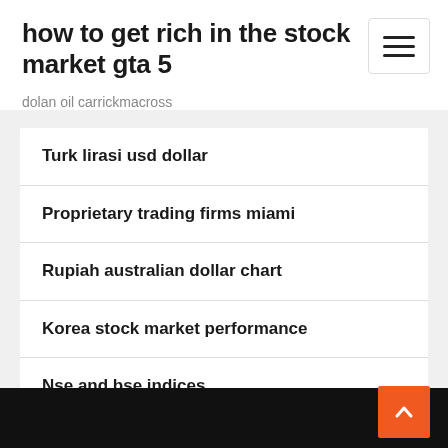how to get rich in the stock market gta 5
dolan oil carrickmacross
Turk lirasi usd dollar
Proprietary trading firms miami
Rupiah australian dollar chart
Korea stock market performance
Nse and bse indices